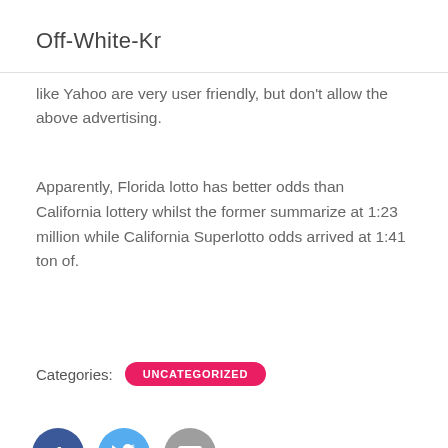Off-White-Kr
like Yahoo are very user friendly, but don't allow the above advertising.
Apparently, Florida lotto has better odds than California lottery whilst the former summarize at 1:23 million while California Superlotto odds arrived at 1:41 ton of.
Categories: UNCATEGORIZED
[Figure (other): Social sharing icons: Facebook (dark blue circle with f), Twitter (light blue circle with bird), Email (grey circle with envelope)]